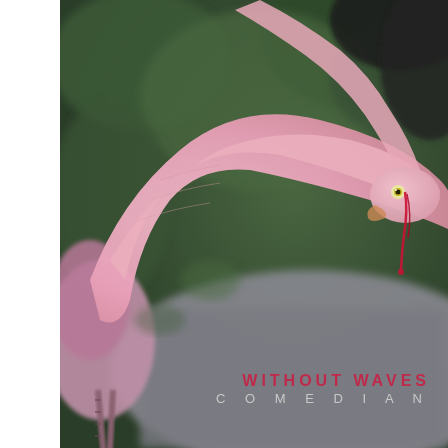[Figure (photo): Close-up photograph of two flamingos interacting. One flamingo's long pink neck curves gracefully across the frame, with its head visible on the right side showing a yellow eye with a red streak of blood running down from it. The background shows green foliage blurred out of focus and a gray ground. One flamingo's legs and body with pink-purple plumage are visible on the lower left. The overall color palette is pink, green, and gray.]
WITHOUT WAVES
COMEDIAN